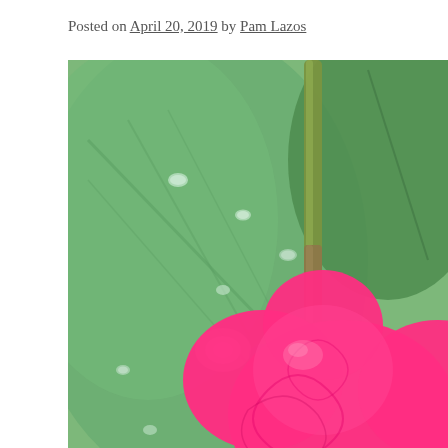Posted on April 20, 2019 by Pam Lazos
[Figure (photo): Close-up photograph of a bright pink flower (anthurium or similar) with a green stem, against a background of large green leaves with water droplets on them. The pink flower fills the lower right portion of the image.]